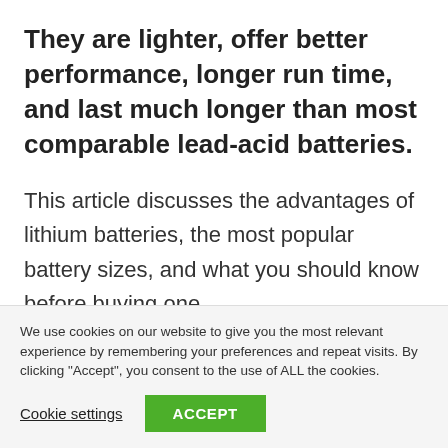They are lighter, offer better performance, longer run time, and last much longer than most comparable lead-acid batteries.
This article discusses the advantages of lithium batteries, the most popular battery sizes, and what you should know before buying one.
Let's get started!
We use cookies on our website to give you the most relevant experience by remembering your preferences and repeat visits. By clicking "Accept", you consent to the use of ALL the cookies.
Cookie settings  ACCEPT